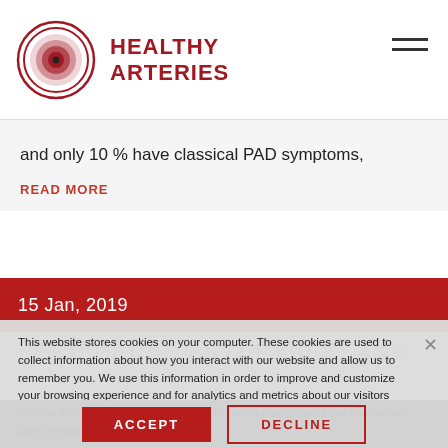HEALTHY ARTERIES
and only 10 % have classical PAD symptoms,
READ MORE
15 Jan, 2019
This website stores cookies on your computer. These cookies are used to collect information about how you interact with our website and allow us to remember you. We use this information in order to improve and customize your browsing experience and for analytics and metrics about our visitors both on this website and other media. To find out more about the cookies we use, see our Privacy Policy.
ACCEPT
DECLINE